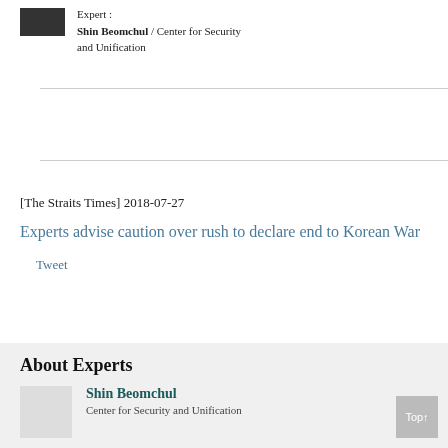Expert : Shin Beomchul / Center for Security and Unification
[The Straits Times] 2018-07-27
Experts advise caution over rush to declare end to Korean War
Tweet
About Experts
Shin Beomchul
Center for Security and Unification